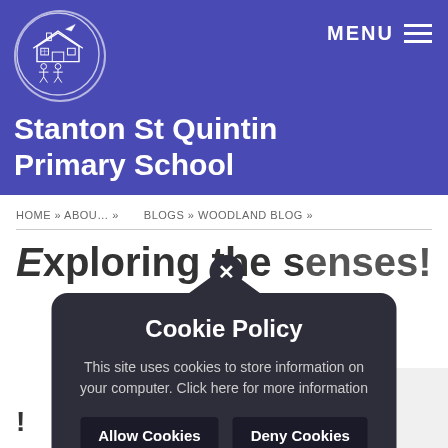[Figure (logo): Stanton St Quintin Primary School circular logo with school building illustration in white outline on purple background]
Stanton St Quintin Primary School
MENU
HOME » ABOUT » BLOGS » WOODLAND BLOG »
Exploring the senses!
Cookie Policy
This site uses cookies to store information on your computer. Click here for more information
Allow Cookies   Deny Cookies